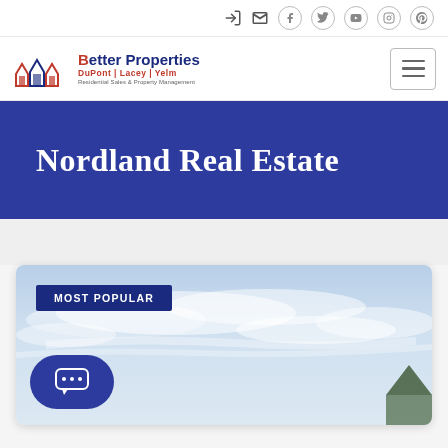Better Properties DuPont | Lacey | Yelm — Residential Sales & Property Management
Nordland Real Estate
[Figure (screenshot): Property listing card with sky photo and MOST POPULAR badge]
MOST POPULAR